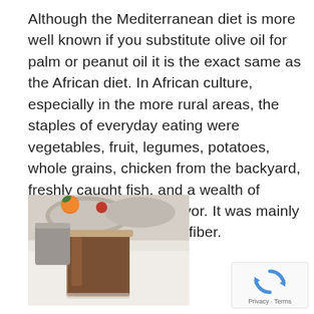Although the Mediterranean diet is more well known if you substitute olive oil for palm or peanut oil it is the exact same as the African diet. In African culture, especially in the more rural areas, the staples of everyday eating were vegetables, fruit, legumes, potatoes, whole grains, chicken from the backyard, freshly caught fish, and a wealth of herbs and spices for flavor. It was mainly plant-based and high in fiber.
[Figure (photo): Photo of a glass of dark liquid (iced tea or coffee) on a white surface with food dishes visible in the background including what appears to be fruit and bowls.]
[Figure (logo): Google reCAPTCHA badge with circular arrow icon and Privacy · Terms text.]